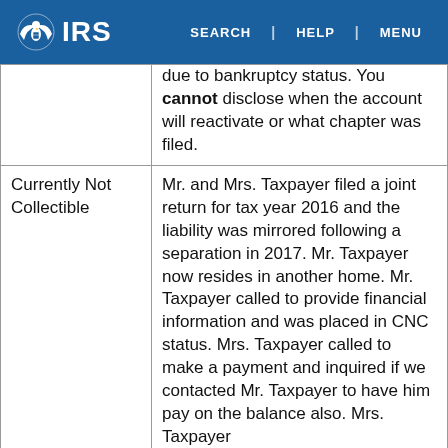IRS | SEARCH | HELP | MENU
|  | due to bankruptcy status. You cannot disclose when the account will reactivate or what chapter was filed. |
| Currently Not Collectible | Mr. and Mrs. Taxpayer filed a joint return for tax year 2016 and the liability was mirrored following a separation in 2017. Mr. Taxpayer now resides in another home. Mr. Taxpayer called to provide financial information and was placed in CNC status. Mrs. Taxpayer called to make a payment and inquired if we contacted Mr. Taxpayer to have him pay on the balance also. Mrs. Taxpayer |